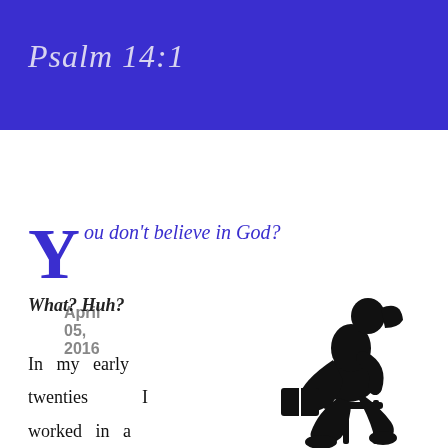Psalm 14:1
April 05, 2016
You don't believe in God?
What? Huh?
In my early twenties I worked in a clothing store
[Figure (illustration): Black silhouette of a woman sitting on a stool reading a book, with her hair in a ponytail.]